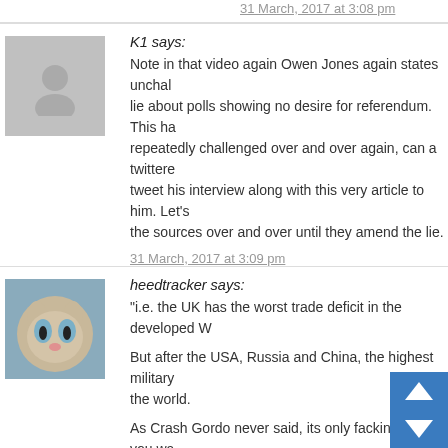31 March, 2017 at 3:08 pm
K1 says:
Note in that video again Owen Jones again states unchal lie about polls showing no desire for referendum. This ha repeatedly challenged over and over again, can a twittere tweet his interview along with this very article to him. Let' the sources over and over until they amend the lie.
31 March, 2017 at 3:09 pm
heedtracker says:
“i.e. the UK has the worst trade deficit in the developed W
But after the USA, Russia and China, the highest military the world.
As Crash Gordo never said, its only fackin money, you wa aircraft carrier? Fack it have two, only £4bn a pop.
Vote SLabour, Fife!
31 March, 2017 at 3:12 pm
Graeme Doig says: